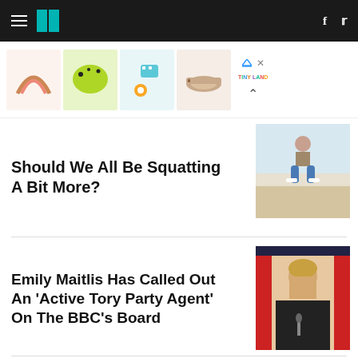HuffPost navigation header with hamburger menu, logo, Facebook and Twitter icons
[Figure (photo): Advertisement strip showing product thumbnails: rainbow art print, green polka-dot helmet, baby toys, rolled yoga mat; with Tiny Land branding and close/chevron controls]
Should We All Be Squatting A Bit More?
[Figure (photo): Person squatting on a beach in casual clothes]
Emily Maitlis Has Called Out An 'Active Tory Party Agent' On The BBC's Board
[Figure (photo): Emily Maitlis speaking at a microphone against a red background]